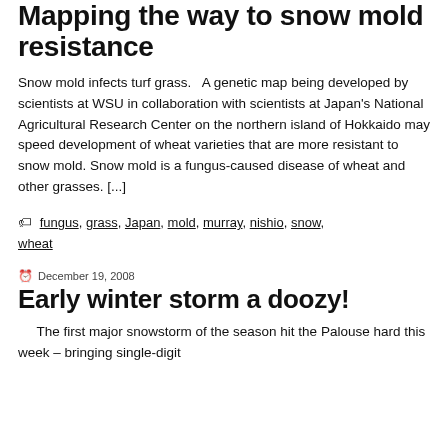Mapping the way to snow mold resistance
Snow mold infects turf grass.   A genetic map being developed by scientists at WSU in collaboration with scientists at Japan's National Agricultural Research Center on the northern island of Hokkaido may speed development of wheat varieties that are more resistant to snow mold. Snow mold is a fungus-caused disease of wheat and other grasses. [...]
Tags: fungus, grass, Japan, mold, murray, nishio, snow, wheat
December 19, 2008
Early winter storm a doozy!
The first major snowstorm of the season hit the Palouse hard this week – bringing single-digit